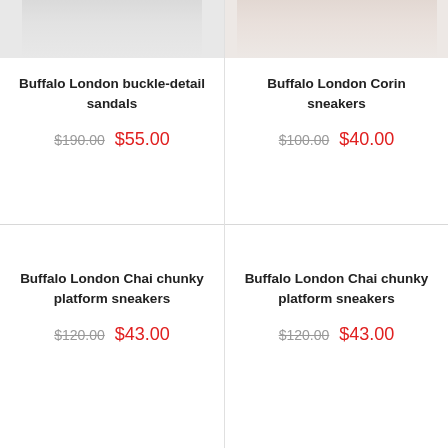[Figure (photo): Partial product image of Buffalo London buckle-detail sandals (cropped at top)]
[Figure (photo): Partial product image of Buffalo London Corin sneakers (cropped at top)]
Buffalo London buckle-detail sandals
$190.00  $55.00
Buffalo London Corin sneakers
$100.00  $40.00
Buffalo London Chai chunky platform sneakers
$120.00  $43.00
Buffalo London Chai chunky platform sneakers
$120.00  $43.00